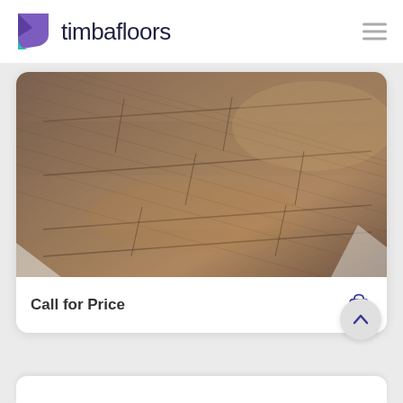timbafloors
[Figure (photo): Close-up photo of wood laminate flooring showing brown/grey wood grain planks installed at an angle]
Call for Price